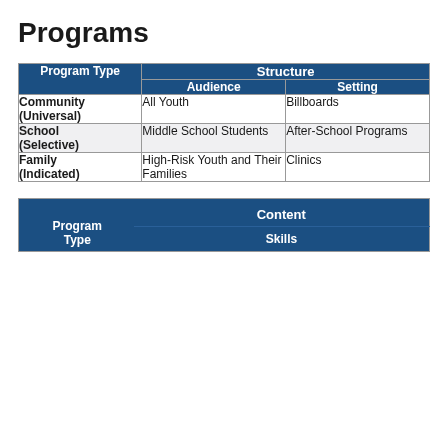Programs
| Program Type | Structure / Audience | Structure / Setting |
| --- | --- | --- |
| Community (Universal) | All Youth | Billboards |
| School (Selective) | Middle School Students | After-School Programs |
| Family (Indicated) | High-Risk Youth and Their Families | Clinics |
| Program Type | Content / Skills | Content / ... |
| --- | --- | --- |